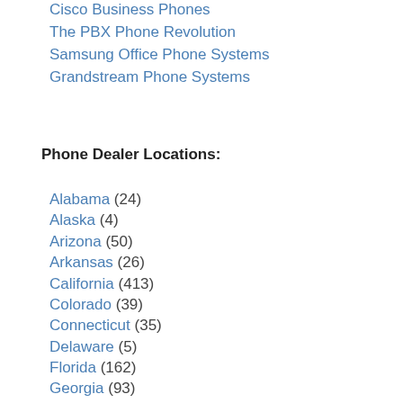Cisco Business Phones
The PBX Phone Revolution
Samsung Office Phone Systems
Grandstream Phone Systems
Phone Dealer Locations:
Alabama (24)
Alaska (4)
Arizona (50)
Arkansas (26)
California (413)
Colorado (39)
Connecticut (35)
Delaware (5)
Florida (162)
Georgia (93)
Hawaii (2)
Idaho (16)
Illinois (332)